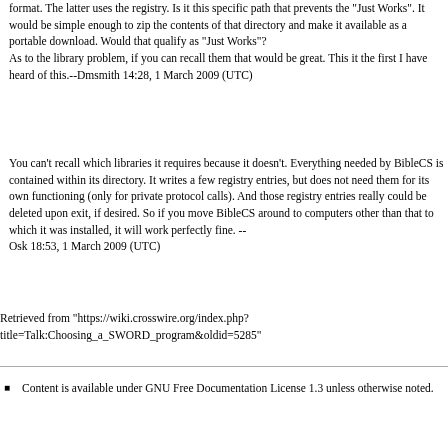format. The latter uses the registry. Is it this specific path that prevents the "Just Works". It would be simple enough to zip the contents of that directory and make it available as a portable download. Would that qualify as "Just Works"?
As to the library problem, if you can recall them that would be great. This it the first I have heard of this.--Dmsmith 14:28, 1 March 2009 (UTC)
You can't recall which libraries it requires because it doesn't. Everything needed by BibleCS is contained within its directory. It writes a few registry entries, but does not need them for its own functioning (only for private protocol calls). And those registry entries really could be deleted upon exit, if desired. So if you move BibleCS around to computers other than that to which it was installed, it will work perfectly fine. -- Osk 18:53, 1 March 2009 (UTC)
Retrieved from "https://wiki.crosswire.org/index.php?title=Talk:Choosing_a_SWORD_program&oldid=5285"
Content is available under GNU Free Documentation License 1.3 unless otherwise noted.